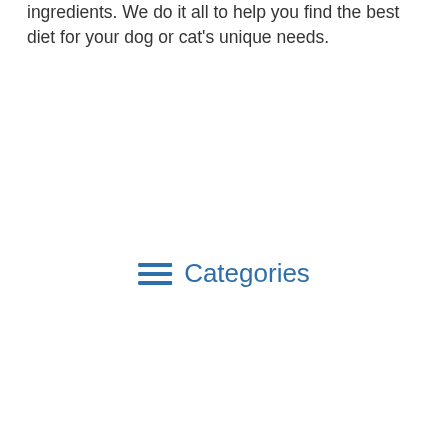ingredients. We do it all to help you find the best diet for your dog or cat's unique needs.
Categories